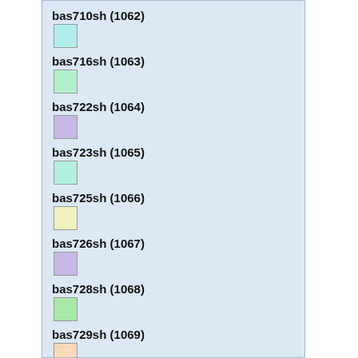bas710sh (1062)
bas716sh (1063)
bas722sh (1064)
bas723sh (1065)
bas725sh (1066)
bas726sh (1067)
bas728sh (1068)
bas729sh (1069)
bas730sh (1070)
bas731sh (1071)